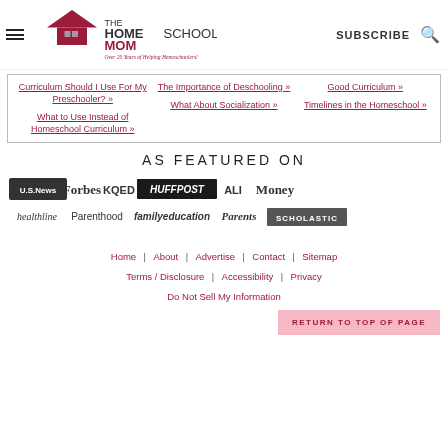THE HOMESCHOOL MOM — Over 20 Years of Helping Homeschoolers! | SUBSCRIBE
Curriculum Should I Use For My Preschooler? »
What to Use Instead of Homeschool Curriculum »
The Importance of Deschooling »
What About Socialization »
Good Curriculum »
Timelines in the Homeschool »
AS FEATURED ON
[Figure (logo): Logos: U.S. News, Forbes, KQED, HuffPost, ALI, Money, healthline, Parenthood, familyeducation, Parents, Scholastic]
Home | About | Advertise | Contact | Sitemap | Terms / Disclosure | Accessibility | Privacy | Do Not Sell My Information
RETURN TO TOP OF PAGE